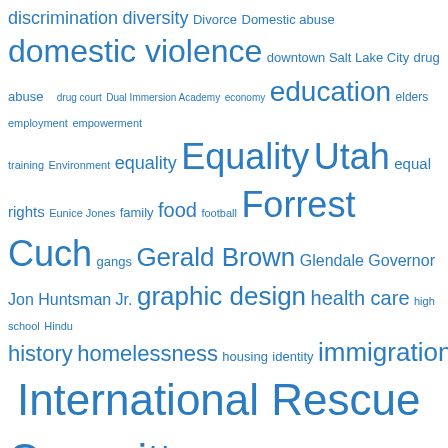[Figure (other): Word cloud with blue text showing various terms related to social issues, people, and organizations. Terms vary in font size indicating frequency/importance. Includes terms like: discrimination, diversity, Divorce, Domestic abuse, domestic violence, downtown Salt Lake City, drug abuse, drug court, Dual Immersion Academy, economy, education, elders, employment, empowerment training, Environment, equality, Equality Utah, equal rights, Eunice Jones, family, food, football, Forrest Cuch, gangs, Gerald Brown, Glendale, Governor Jon Huntsman Jr., graphic design, health care, high school, Hindu, history, homelessness, housing, identity, immigration, International Rescue Committee, Jackie Biskupski, JACL, JoSelle Vanderhooft, journalism, Law enforcement, LDS, LDS Church, LDS Humanitarian]